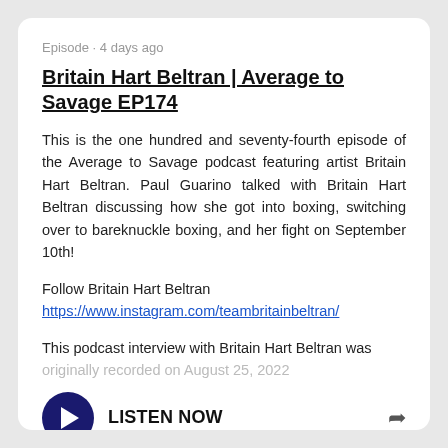Episode · 4 days ago
Britain Hart Beltran | Average to Savage EP174
This is the one hundred and seventy-fourth episode of the Average to Savage podcast featuring artist Britain Hart Beltran. Paul Guarino talked with Britain Hart Beltran discussing how she got into boxing, switching over to bareknuckle boxing, and her fight on September 10th!
Follow Britain Hart Beltran
https://www.instagram.com/teambritainbeltran/
This podcast interview with Britain Hart Beltran was originally recorded on August 25, 2022
LISTEN NOW